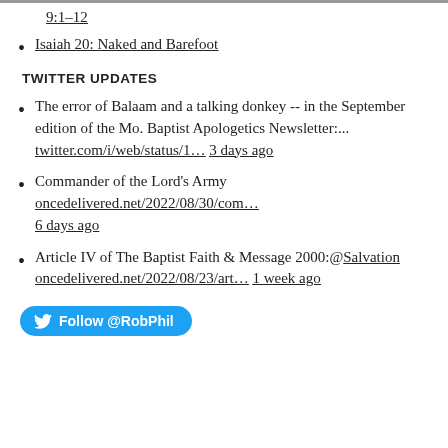9:1-12
Isaiah 20: Naked and Barefoot
TWITTER UPDATES
The error of Balaam and a talking donkey -- in the September edition of the Mo. Baptist Apologetics Newsletter:... twitter.com/i/web/status/1... 3 days ago
Commander of the Lord's Army oncedelivered.net/2022/08/30/com... 6 days ago
Article IV of The Baptist Faith & Message 2000:@Salvation oncedelivered.net/2022/08/23/art... 1 week ago
Follow @RobPhil